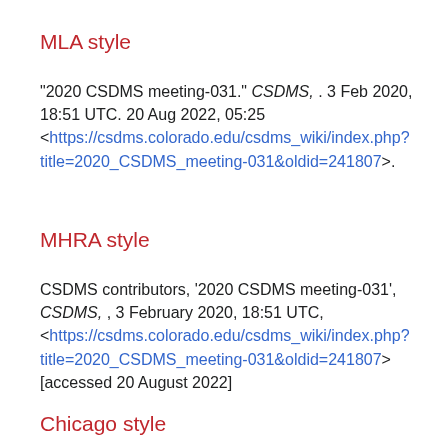MLA style
"2020 CSDMS meeting-031." CSDMS, . 3 Feb 2020, 18:51 UTC. 20 Aug 2022, 05:25 <https://csdms.colorado.edu/csdms_wiki/index.php?title=2020_CSDMS_meeting-031&oldid=241807>.
MHRA style
CSDMS contributors, '2020 CSDMS meeting-031', CSDMS, , 3 February 2020, 18:51 UTC, <https://csdms.colorado.edu/csdms_wiki/index.php?title=2020_CSDMS_meeting-031&oldid=241807> [accessed 20 August 2022]
Chicago style